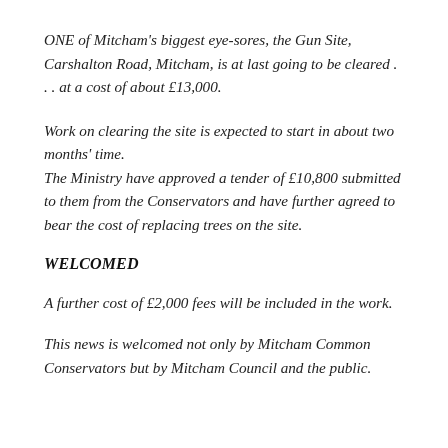ONE of Mitcham's biggest eye-sores, the Gun Site, Carshalton Road, Mitcham, is at last going to be cleared . . . at a cost of about £13,000.
Work on clearing the site is expected to start in about two months' time. The Ministry have approved a tender of £10,800 submitted to them from the Conservators and have further agreed to bear the cost of replacing trees on the site.
WELCOMED
A further cost of £2,000 fees will be included in the work.
This news is welcomed not only by Mitcham Common Conservators but by Mitcham Council and the public.